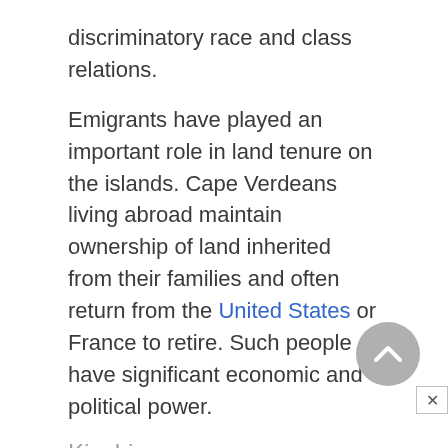discriminatory race and class relations.
Emigrants have played an important role in land tenure on the islands. Cape Verdeans living abroad maintain ownership of land inherited from their families and often return from the United States or France to retire. Such people have significant economic and political power.
Kinship